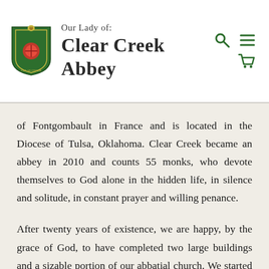Our Lady of: Clear Creek Abbey
of Fontgombault in France and is located in the Diocese of Tulsa, Oklahoma. Clear Creek became an abbey in 2010 and counts 55 monks, who devote themselves to God alone in the hidden life, in silence and solitude, in constant prayer and willing penance.
After twenty years of existence, we are happy, by the grace of God, to have completed two large buildings and a sizable portion of our abbatial church. We started building the “Chapter House” to